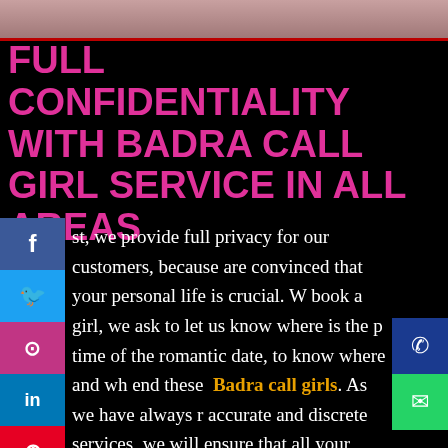[Figure (photo): Partial photo of a woman at the top of the page, cropped to show only hair/face area]
FULL CONFIDENTIALITY WITH BADRA CALL GIRL SERVICE IN ALL AREAS
st, we provide full privacy for our customers, because are convinced that your personal life is crucial. W book a girl, we ask to let us know where is the p time of the romantic date, to know where and wh end these  Badra call girls. As we have always r accurate and discrete services, we will ensure that all your personal data will be handled with maximum care. Nobody will know that you were the client of meetvipgirls ladies because we delete your personal information as soon as the girl returned to our office. In this case, the details will be hidden as soon as the girl ret